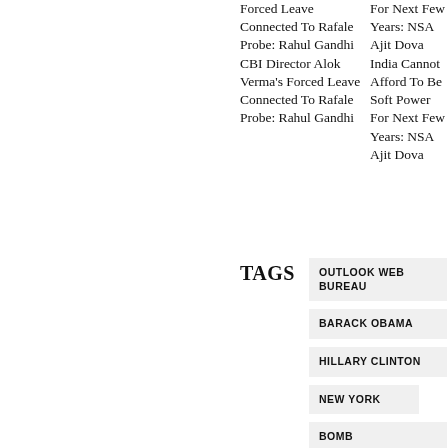Forced Leave Connected To Rafale Probe: Rahul Gandhi CBI Director Alok Verma's Forced Leave Connected To Rafale Probe: Rahul Gandhi
For Next Few Years: NSA Ajit Doval India Cannot Afford To Be Soft Power For Next Few Years: NSA Ajit Doval
TAGS
OUTLOOK WEB BUREAU
BARACK OBAMA
HILLARY CLINTON
NEW YORK
BOMB